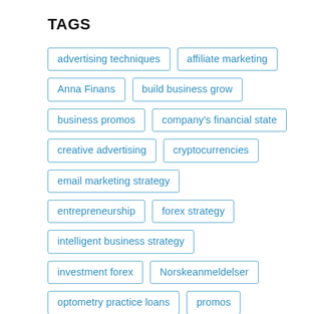TAGS
advertising techniques
affiliate marketing
Anna Finans
build business grow
business promos
company's financial state
creative advertising
cryptocurrencies
email marketing strategy
entrepreneurship
forex strategy
intelligent business strategy
investment forex
Norskeanmeldelser
optometry practice loans
promos